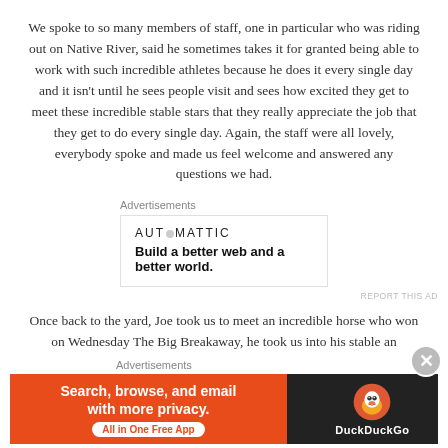We spoke to so many members of staff, one in particular who was riding out on Native River, said he sometimes takes it for granted being able to work with such incredible athletes because he does it every single day and it isn't until he sees people visit and sees how excited they get to meet these incredible stable stars that they really appreciate the job that they get to do every single day. Again, the staff were all lovely, everybody spoke and made us feel welcome and answered any questions we had.
Advertisements
[Figure (other): Automattic advertisement: logo 'AUTOMATTIC' with circle dot, tagline 'Build a better web and a better world.']
REPORT THIS AD
Once back to the yard, Joe took us to meet an incredible horse who won on Wednesday The Big Breakaway, he took us into his stable an
Advertisements
[Figure (other): DuckDuckGo advertisement: orange left panel with text 'Search, browse, and email with more privacy. All in One Free App', dark right panel with DuckDuckGo duck logo and text 'DuckDuckGo']
REPORT THIS AD